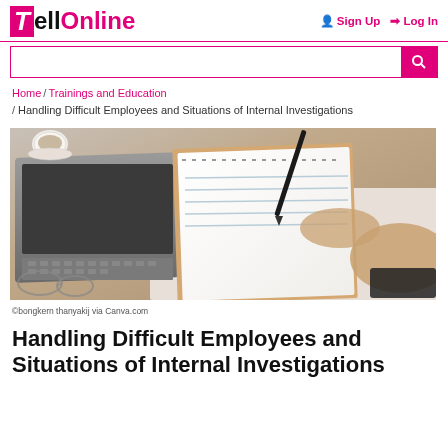TellOnline | Sign Up | Log In
Home / Trainings and Education / Handling Difficult Employees and Situations of Internal Investigations
[Figure (photo): Overhead view of a person writing in a notebook with a pen, a laptop computer open on the left, and a coffee cup in the upper left. Desk scene with warm tones.]
©bongkern thanyakij via Canva.com
Handling Difficult Employees and Situations of Internal Investigations